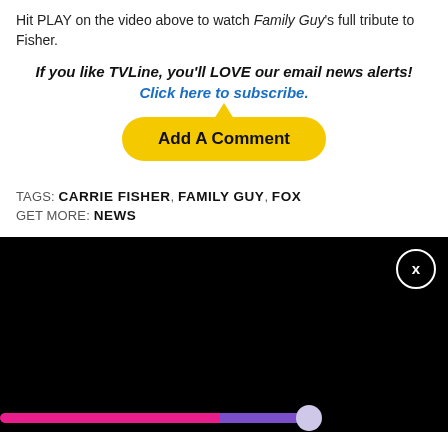Hit PLAY on the video above to watch Family Guy's full tribute to Fisher.
If you like TVLine, you'll LOVE our email news alerts! Click here to subscribe.
Add A Comment
TAGS: CARRIE FISHER, FAMILY GUY, FOX
GET MORE: NEWS
[Figure (screenshot): Black video player area with close button (X) and a progress bar at the bottom with pink, purple, and white circle elements.]